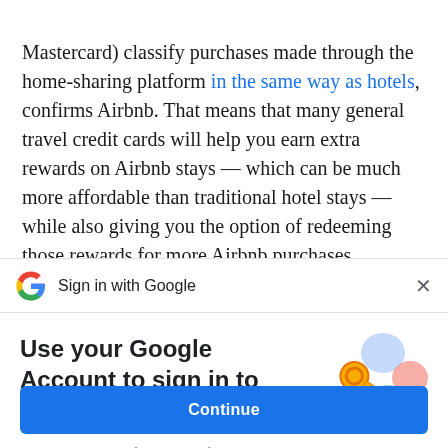Mastercard) classify purchases made through the home-sharing platform in the same way as hotels, confirms Airbnb. That means that many general travel credit cards will help you earn extra rewards on Airbnb stays — which can be much more affordable than traditional hotel stays — while also giving you the option of redeeming those rewards for more Airbnb purchases.
[Figure (screenshot): Google Sign-in dialog header bar with Google G logo and 'Sign in with Google' text and a close X button]
Use your Google Account to sign in to NerdWallet
No more passwords to remember. Signing in is fast, simple and secure.
[Figure (illustration): Colorful illustration of a golden key with circular decorative elements in blue, green, yellow and pink]
Continue